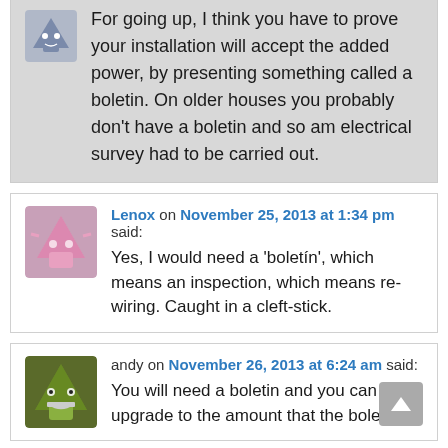For going up, I think you have to prove your installation will accept the added power, by presenting something called a boletin. On older houses you probably don't have a boletin and so am electrical survey had to be carried out.
Lenox on November 25, 2013 at 1:34 pm said: Yes, I would need a 'boletín', which means an inspection, which means re-wiring. Caught in a cleft-stick.
andy on November 26, 2013 at 6:24 am said: You will need a boletin and you can only upgrade to the amount that the boletin is